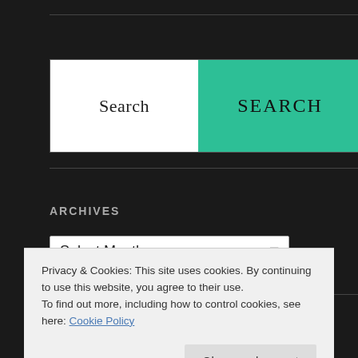[Figure (screenshot): Search widget with two halves: white left half labeled 'Search' and teal right half labeled 'SEARCH' as a button]
ARCHIVES
[Figure (screenshot): Archives dropdown select box showing 'Select Month' with a dropdown arrow]
RECENT COMMENTS
Privacy & Cookies: This site uses cookies. By continuing to use this website, you agree to their use.
To find out more, including how to control cookies, see here: Cookie Policy
Close and accept
Bathroom Interrupted: